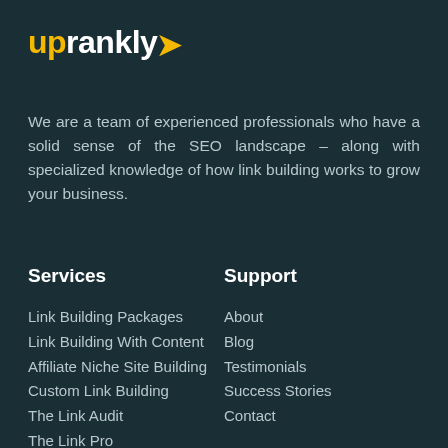[Figure (logo): Uprankly logo with 'up' in yellow/gold and 'rankly' in white with a yellow chevron arrow]
We are a team of experienced professionals who have a solid sense of the SEO landscape – along with specialized knowledge of how link building works to grow your business.
Services
Link Building Packages
Link Building With Content
Affiliate Niche Site Building
Custom Link Building
The Link Audit
The Link Pro
Support
About
Blog
Testimonials
Success Stories
Contact